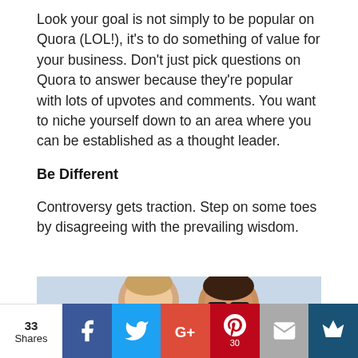Look your goal is not simply to be popular on Quora (LOL!), it's to do something of value for your business.  Don't just pick questions on Quora to answer because they're popular with lots of upvotes and comments.  You want to niche yourself down to an area where you can be established as a thought leader.
Be Different
Controversy gets traction.  Step on some toes by disagreeing with the prevailing wisdom.
[Figure (photo): Photo of two men smiling, partially cropped at the bottom]
33 Shares | Facebook | Twitter | G+ | Pinterest 30 | Email | Crown